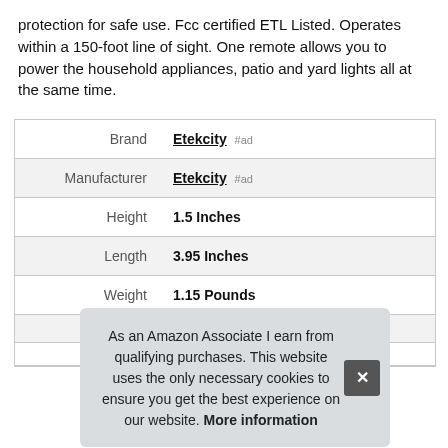protection for safe use. Fcc certified ETL Listed. Operates within a 150-foot line of sight. One remote allows you to power the household appliances, patio and yard lights all at the same time.
|  |  |
| --- | --- |
| Brand | Etekcity #ad |
| Manufacturer | Etekcity #ad |
| Height | 1.5 Inches |
| Length | 3.95 Inches |
| Weight | 1.15 Pounds |
| P... | ... |
| Warranty | 2 Year Warranty From Etekcity |
As an Amazon Associate I earn from qualifying purchases. This website uses the only necessary cookies to ensure you get the best experience on our website. More information